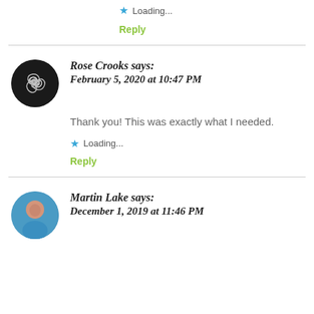Loading...
Reply
Rose Crooks says:
February 5, 2020 at 10:47 PM
Thank you! This was exactly what I needed.
Loading...
Reply
Martin Lake says:
December 1, 2019 at 11:46 PM